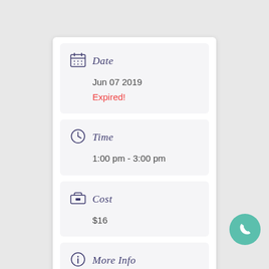Date
Jun 07 2019
Expired!
Time
1:00 pm - 3:00 pm
Cost
$16
More Info